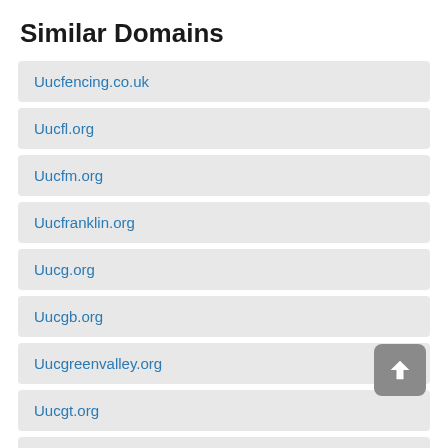Similar Domains
Uucfencing.co.uk
Uucfl.org
Uucfm.org
Uucfranklin.org
Uucg.org
Uucgb.org
Uucgreenvalley.org
Uucgt.org
Uuch.ca